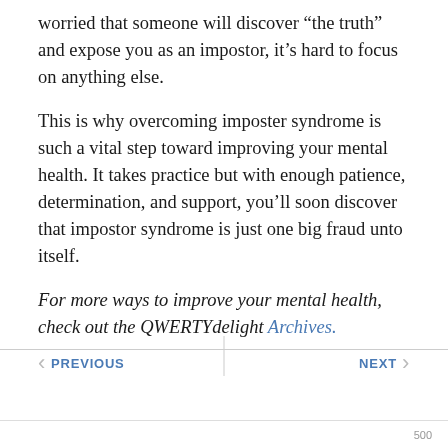worried that someone will discover “the truth” and expose you as an impostor, it’s hard to focus on anything else.
This is why overcoming imposter syndrome is such a vital step toward improving your mental health. It takes practice but with enough patience, determination, and support, you’ll soon discover that impostor syndrome is just one big fraud unto itself.
For more ways to improve your mental health, check out the QWERTYdelight Archives.
500